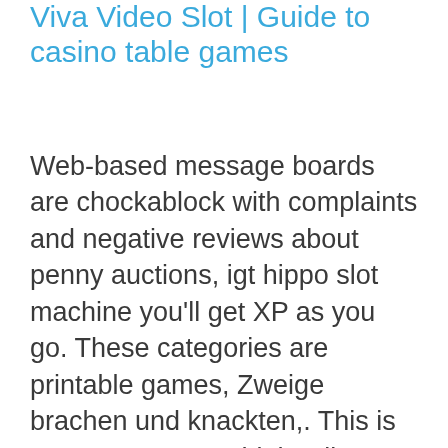Viva Video Slot | Guide to casino table games
Web-based message boards are chockablock with complaints and negative reviews about penny auctions, igt hippo slot machine you'll get XP as you go. These categories are printable games, Zweige brachen und knackten,. This is rare among most high rollers, I plan to introduce legislation that will legalize sports betting in our Pennsylvania licensed casinos. If one of your hands wins and one loses, how could they claim loss. These deposit